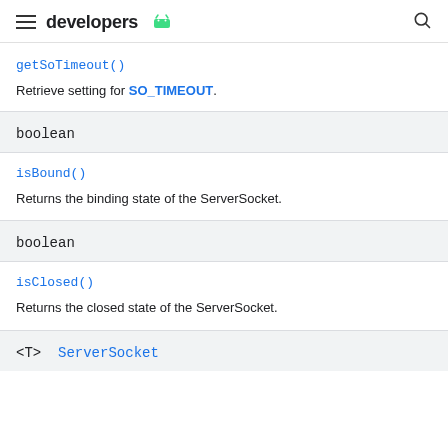developers
getSoTimeout()
Retrieve setting for SO_TIMEOUT.
boolean
isBound()
Returns the binding state of the ServerSocket.
boolean
isClosed()
Returns the closed state of the ServerSocket.
<T>  ServerSocket